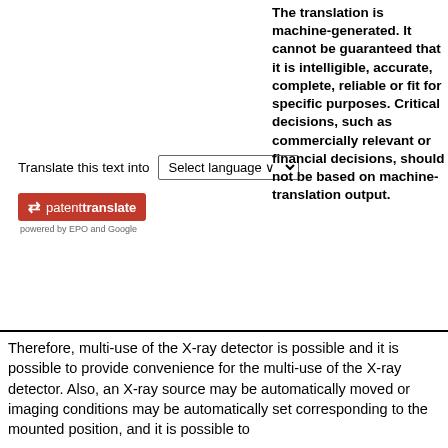Translate this text into [Select language dropdown]
[Figure (logo): patenttranslate logo - red badge with arrows icon and text 'patenttranslate', subtitle 'powered by EPO and Google']
The translation is machine-generated. It cannot be guaranteed that it is intelligible, accurate, complete, reliable or fit for specific purposes. Critical decisions, such as commercially relevant or financial decisions, should not be based on machine-translation output.
Therefore, multi-use of the X-ray detector is possible and it is possible to provide convenience for the multi-use of the X-ray detector. Also, an X-ray source may be automatically moved or imaging conditions may be automatically set corresponding to the mounted position, and it is possible to